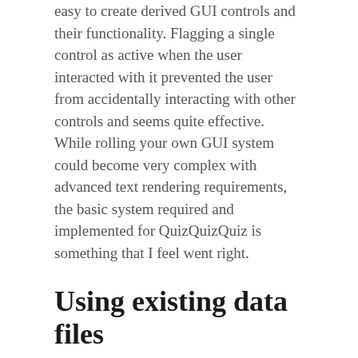easy to create derived GUI controls and their functionality. Flagging a single control as active when the user interacted with it prevented the user from accidentally interacting with other controls and seems quite effective. While rolling your own GUI system could become very complex with advanced text rendering requirements, the basic system required and implemented for QuizQuizQuiz is something that I feel went right.
Using existing data files
The iOS version of QuizQuizQuiz already had a substantial amount of data, from complete localisation tables to quiz categories and thousands of questions. Leveraging the existing data files and formats used by data formats and files was therefore a good idea as it meant that the existing file authoring